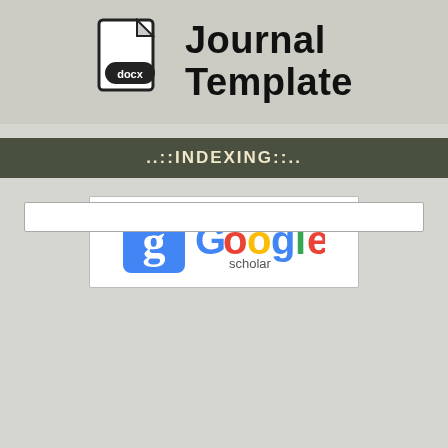[Figure (logo): Journal Template banner with docx file icon and bold text 'Journal Template']
..::INDEXING::..
[Figure (logo): Google Scholar logo with blue square 'g' icon and colorful Google text with 'scholar' subtitle]